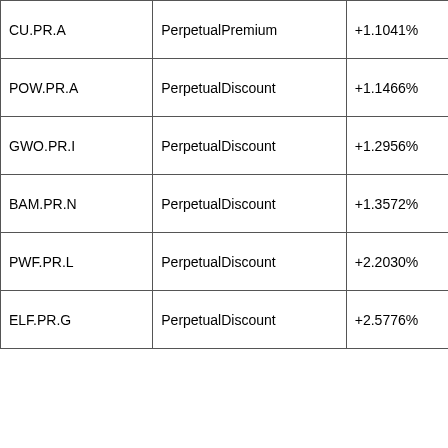| Issue | Index | Volume/Spread | Notes |
| --- | --- | --- | --- |
| CU.PR.A | PerpetualPremium | +1.1041% | Now with a ... based on a ... 2012-3-31 |
| POW.PR.A | PerpetualDiscount | +1.1466% | Now with a ... based on a ... limitMaturit |
| GWO.PR.I | PerpetualDiscount | +1.2956% | Now with a ... based on a ... limitMaturit |
| BAM.PR.N | PerpetualDiscount | +1.3572% | Now with a ... based on a ... limitMaturit |
| PWF.PR.L | PerpetualDiscount | +2.2030% | Now with a ... based on a ... limitMaturit |
| ELF.PR.G | PerpetualDiscount | +2.5776% | Now with a ... based on a ... limitMaturit |
Volume Highlights
| Issue | Index | Volume | Notes |
| --- | --- | --- | --- |
| CM.PR.I | PerpetualDiscount | 143,372 | Now ... 5.559% ... and a ... |